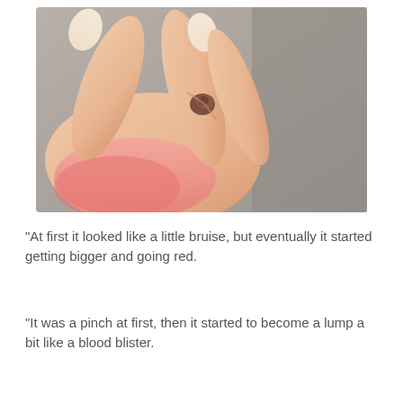[Figure (photo): Close-up photograph of a hand showing fingers pinching a small dark-brown lump or growth near the fingertip. The thumb area shows reddish/pink discoloration. Background is a grey textured surface.]
"At first it looked like a little bruise, but eventually it started getting bigger and going red.
"It was a pinch at first, then it started to become a lump a bit like a blood blister.